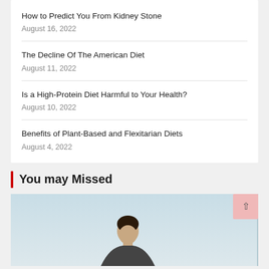How to Predict You From Kidney Stone
August 16, 2022
The Decline Of The American Diet
August 11, 2022
Is a High-Protein Diet Harmful to Your Health?
August 10, 2022
Benefits of Plant-Based and Flexitarian Diets
August 4, 2022
You may Missed
[Figure (photo): A person (male, short hair) photographed from the upper body, with a light blue/grey sky background. Part of a 'You may Missed' section on a health/medical website.]